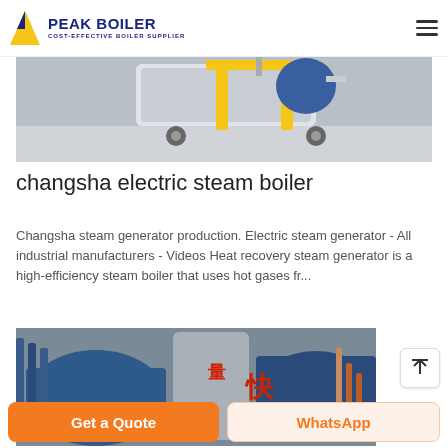PEAK BOILER COST-EFFECTIVE BOILER SUPPLIER
[Figure (photo): Photo of an electric steam boiler/generator device on wheels with yellow metal frame, industrial setting]
changsha electric steam boiler
Changsha steam generator production. Electric steam generator - All industrial manufacturers - Videos Heat recovery steam generator is a high-efficiency steam boiler that uses hot gases fr...
[Figure (photo): Photo of large industrial boilers in a factory, blue cylindrical boilers with Chinese characters and metal piping]
Get a Quote | WhatsApp